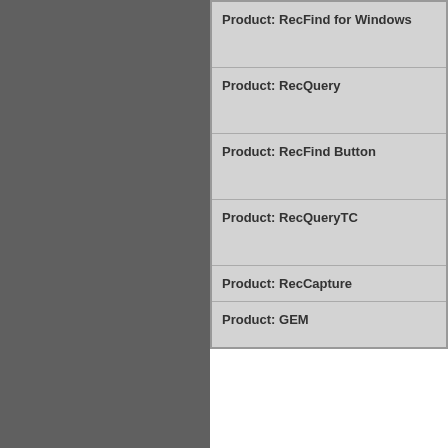| Product |
| --- |
| Product: RecFind for Windows |
| Product: RecQuery |
| Product: RecFind Button |
| Product: RecQueryTC |
| Product: RecCapture |
| Product: GEM |